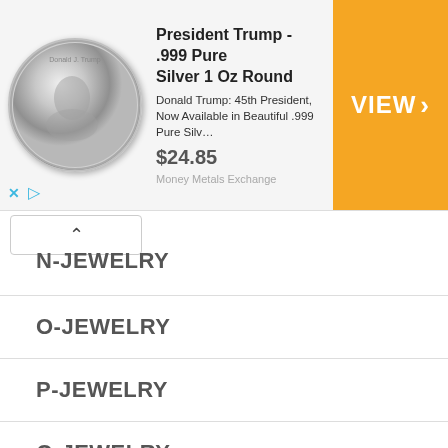[Figure (other): Advertisement banner: President Trump .999 Pure Silver 1 Oz Round coin. Shows silver coin with Trump portrait, price $24.85, orange VIEW button. Advertiser: Money Metals Exchange.]
N-JEWELRY
O-JEWELRY
P-JEWELRY
Q-JEWELRY
R-JEWELRY
S-JEWELRY
T-JEWELRY